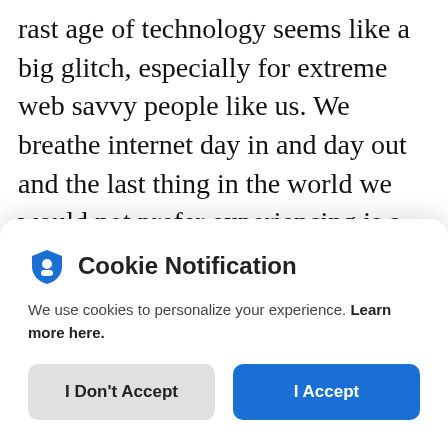rast age of technology seems like a big glitch, especially for extreme web savvy people like us. We breathe internet day in and day out and the last thing in the world we would not prefer experiencing is a router which only works at specific zones in the house and goes dead everywhere else. That was just a part of what it's like to live with wi-fi and yet not get to take
[Figure (screenshot): Cookie Notification modal dialog with shield icon, title 'Cookie Notification', body text 'We use cookies to personalize your experience. Learn more here.', and two buttons: 'I Don't Accept' (gray) and 'I Accept' (blue).]